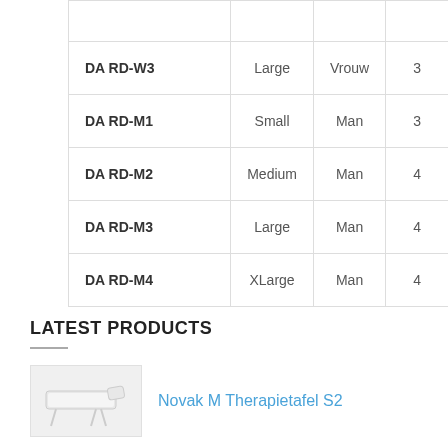|  |  |  |  |
| --- | --- | --- | --- |
| DA RD-W3 | Large | Vrouw | 3 |
| DA RD-M1 | Small | Man | 3 |
| DA RD-M2 | Medium | Man | 4 |
| DA RD-M3 | Large | Man | 4 |
| DA RD-M4 | XLarge | Man | 4 |
LATEST PRODUCTS
Novak M Therapietafel S2